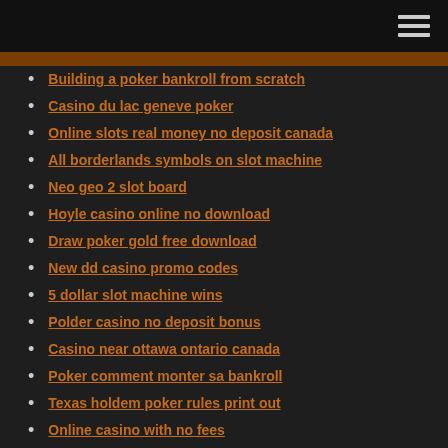Building a poker bankroll from scratch
Casino du lac geneve poker
Online slots real money no deposit canada
All borderlands symbols on slot machine
Neo geo 2 slot board
Hoyle casino online no download
Draw poker gold free download
New dd casino promo codes
5 dollar slot machine wins
Polder casino no deposit bonus
Casino near ottawa ontario canada
Poker comment monter sa bankroll
Texas holdem poker rules print out
Online casino with no fees